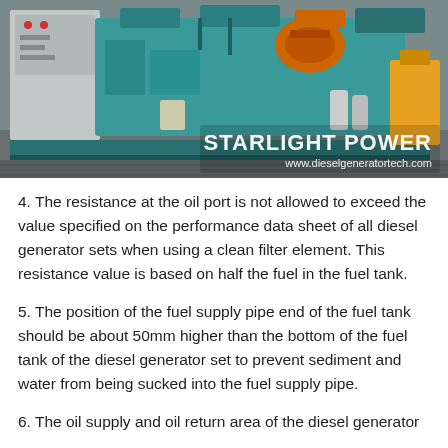[Figure (photo): Photo of a large teal/turquoise diesel generator set with control panel on the left side, photographed outdoors. Watermark text reads 'STARLIGHT POWER' and 'www.dieselgeneratortech.com' in the lower right.]
4. The resistance at the oil port is not allowed to exceed the value specified on the performance data sheet of all diesel generator sets when using a clean filter element. This resistance value is based on half the fuel in the fuel tank.
5. The position of the fuel supply pipe end of the fuel tank should be about 50mm higher than the bottom of the fuel tank of the diesel generator set to prevent sediment and water from being sucked into the fuel supply pipe.
6. The oil supply and oil return area of the diesel generator...